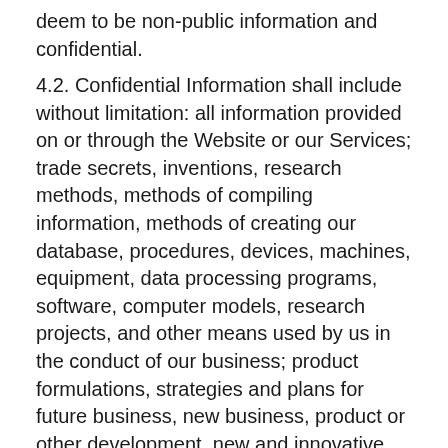deem to be non-public information and confidential.
4.2. Confidential Information shall include without limitation: all information provided on or through the Website or our Services; trade secrets, inventions, research methods, methods of compiling information, methods of creating our database, procedures, devices, machines, equipment, data processing programs, software, computer models, research projects, and other means used by us in the conduct of our business; product formulations, strategies and plans for future business, new business, product or other development, new and innovative product ideas, potential acquisitions or divestitures, and new marketing ideas; information with respect to costs, commissions, fees, profits, sales, markets, sales methods and financial information; mailing lists, the identity of our customers, potential customers, distributors, and suppliers and their names and